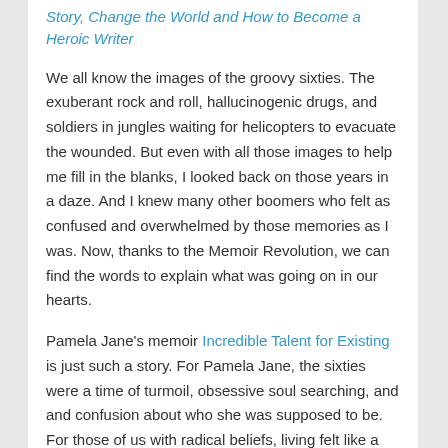Story, Change the World and How to Become a Heroic Writer
We all know the images of the groovy sixties. The exuberant rock and roll, hallucinogenic drugs, and soldiers in jungles waiting for helicopters to evacuate the wounded. But even with all those images to help me fill in the blanks, I looked back on those years in a daze. And I knew many other boomers who felt as confused and overwhelmed by those memories as I was. Now, thanks to the Memoir Revolution, we can find the words to explain what was going on in our hearts.
Pamela Jane's memoir Incredible Talent for Existing is just such a story. For Pamela Jane, the sixties were a time of turmoil, obsessive soul searching, and and confusion about who she was supposed to be. For those of us with radical beliefs, living felt like a curse. How could we grow up to be adults when the adult world was evil and corrupt? Pamela Jane was one of those who were so disrupted by those beliefs, it took a lifetime to heal.